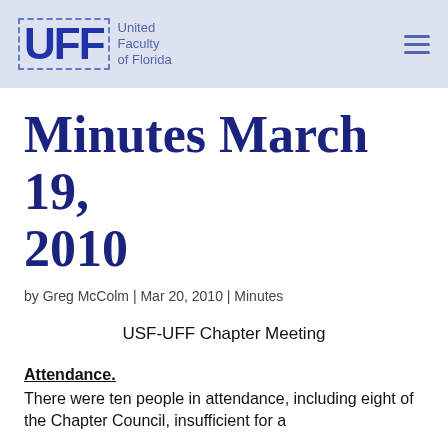UFF United Faculty of Florida
Minutes March 19, 2010
by Greg McColm | Mar 20, 2010 | Minutes
USF-UFF Chapter Meeting
Attendance.
There were ten people in attendance, including eight of the Chapter Council, insufficient for a